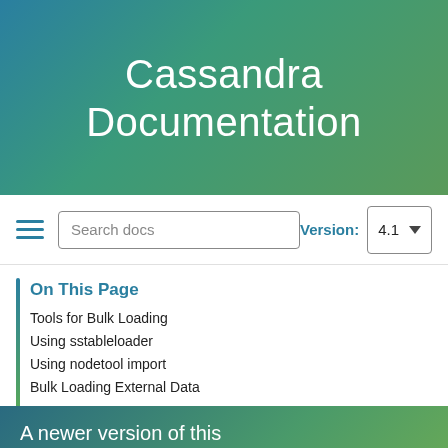Cassandra Documentation
[Figure (screenshot): Search bar with placeholder 'Search docs' and hamburger menu icon on the left, Version label with '4.1' dropdown on the right]
On This Page
Tools for Bulk Loading
Using sstableloader
Using nodetool import
Bulk Loading External Data
A newer version of this